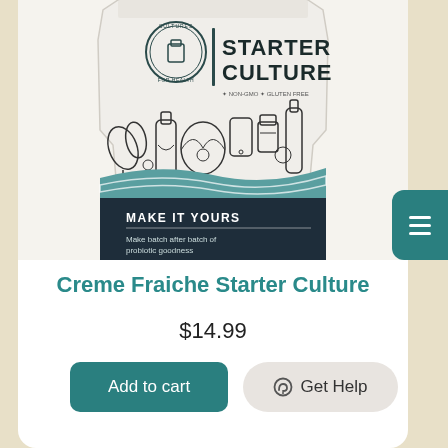[Figure (photo): Product photo of a Cultures for Health Starter Culture bag. The bag is white/light gray at the top with a circular logo reading 'CULTURES FOR HEALTH' and bold text 'STARTER CULTURE'. The lower portion of the bag shows illustrated line drawings of fermentation vessels, bottles, jars, and food items. The bottom third has a dark navy background with a teal wave design, bold white text reading 'MAKE IT YOURS', and smaller white text 'Make batch after batch of probiotic goodness'.]
Creme Fraiche Starter Culture
$14.99
Add to cart
Get Help